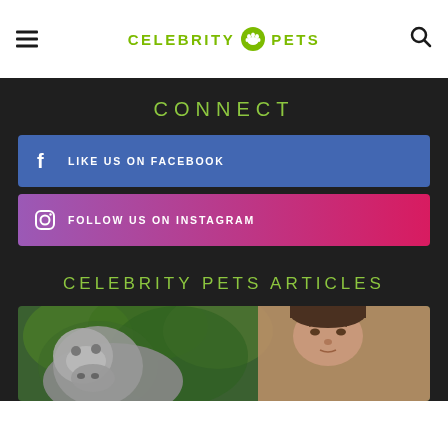CELEBRITY PETS
CONNECT
LIKE US ON FACEBOOK
FOLLOW US ON INSTAGRAM
CELEBRITY PETS ARTICLES
[Figure (photo): A person with a hippopotamus or large animal outdoors among green foliage]